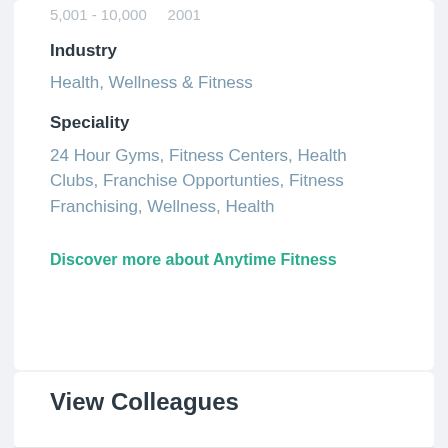5,001 - 10,000  2001
Industry
Health, Wellness & Fitness
Speciality
24 Hour Gyms, Fitness Centers, Health Clubs, Franchise Opportunties, Fitness Franchising, Wellness, Health
Discover more about Anytime Fitness
View Colleagues